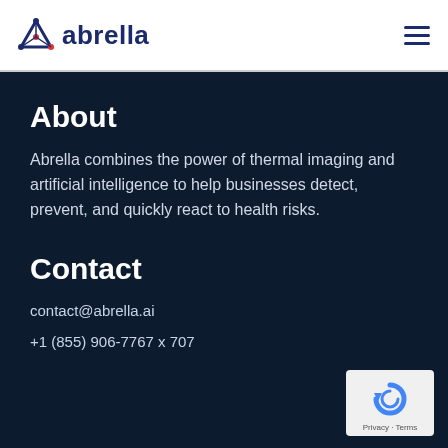[Figure (logo): Abrella logo with triangular icon and dark blue wordmark 'abrella']
About
Abrella combines the power of thermal imaging and artificial intelligence to help businesses detect, prevent, and quickly react to health risks.
Contact
contact@abrella.ai
+1 (855) 906-7767 x 707
[Figure (logo): reCAPTCHA badge with blue circular arrow icon and Privacy - Terms text]